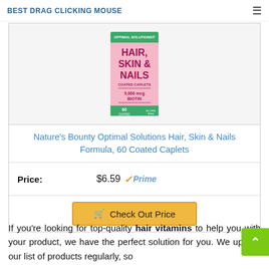BEST DRAG CLICKING MOUSE
[Figure (photo): Nature's Bounty Optimal Solutions Hair, Skin & Nails supplement bottle — pink box, 60 coated caplets, 5000 mcg Biotin]
Nature’s Bounty Optimal Solutions Hair, Skin & Nails Formula, 60 Coated Caplets
Price: $6.59 ✓Prime
Check Out Price
If you’re looking for top-quality hair vitamins to help you with your product, we have the perfect solution for you. We update our list of products regularly, so